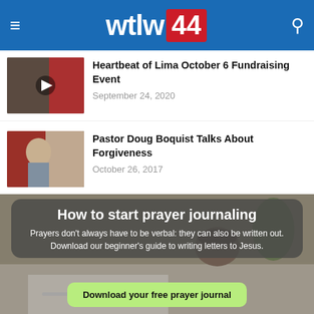wtlw 44
Heartbeat of Lima October 6 Fundraising Event
September 24, 2020
[Figure (photo): Video thumbnail with play button]
Pastor Doug Boquist Talks About Forgiveness
October 26, 2017
[Figure (photo): Photo of Pastor Doug Boquist speaking]
[Figure (infographic): Prayer journaling banner with background photo of journal, coffee cup and plant]
How to start prayer journaling
Prayers don't always have to be verbal: they can also be written out. Download our beginner's guide to writing letters to Jesus.
Download your free prayer journal